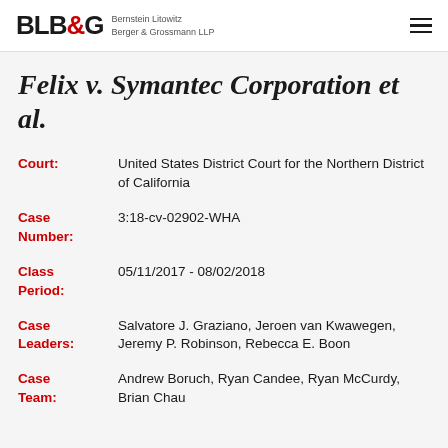BLB&G Bernstein Litowitz Berger & Grossmann LLP
Felix v. Symantec Corporation et al.
Court: United States District Court for the Northern District of California
Case Number: 3:18-cv-02902-WHA
Class Period: 05/11/2017 - 08/02/2018
Case Leaders: Salvatore J. Graziano, Jeroen van Kwawegen, Jeremy P. Robinson, Rebecca E. Boon
Case Team: Andrew Boruch, Ryan Candee, Ryan McCurdy, Brian Chau